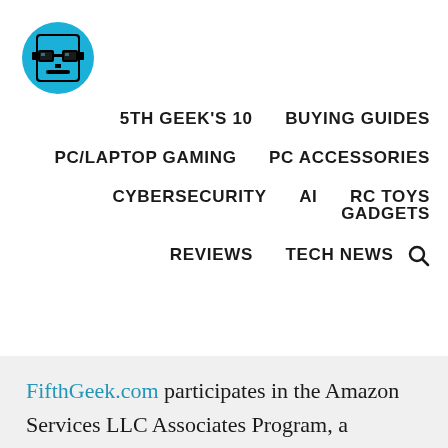[Figure (logo): FifthGeek.com logo: a blue circle with a pixel-art face wearing glasses]
5TH GEEK'S 10   BUYING GUIDES
PC/LAPTOP GAMING   PC ACCESSORIES
CYBERSECURITY   AI   RC TOYS   GADGETS
REVIEWS   TECH NEWS
FifthGeek.com participates in the Amazon Services LLC Associates Program, a platform for affiliate advertising which aims to provide